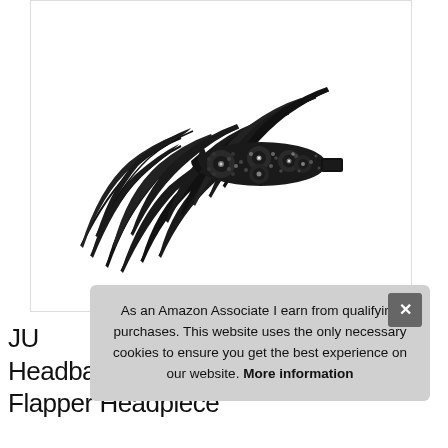[Figure (photo): Black feather and beaded headband / flapper headdress with decorative beaded center piece and large black feathers fanning out to the left, photographed on white background]
As an Amazon Associate I earn from qualifying purchases. This website uses the only necessary cookies to ensure you get the best experience on our website. More information
JU... Headband Indian Flapper Headpiece